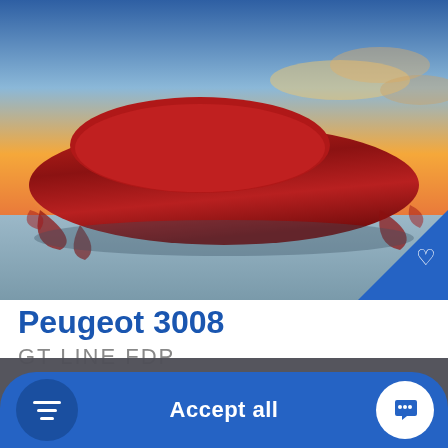[Figure (photo): A car covered with a red cloth/drape on a flat surface with a sunset sky background]
Peugeot 3008
GT LINE FDP
We use cookies to improve your experience and for ads personalisation, by continuing to use this website, you are agreeing to our cookie policy.
Settings
Accept all